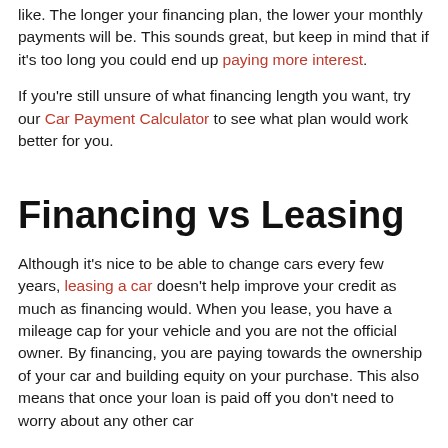like. The longer your financing plan, the lower your monthly payments will be. This sounds great, but keep in mind that if it's too long you could end up paying more interest.
If you're still unsure of what financing length you want, try our Car Payment Calculator to see what plan would work better for you.
Financing vs Leasing
Although it's nice to be able to change cars every few years, leasing a car doesn't help improve your credit as much as financing would. When you lease, you have a mileage cap for your vehicle and you are not the official owner. By financing, you are paying towards the ownership of your car and building equity on your purchase. This also means that once your loan is paid off you don't need to worry about any other car